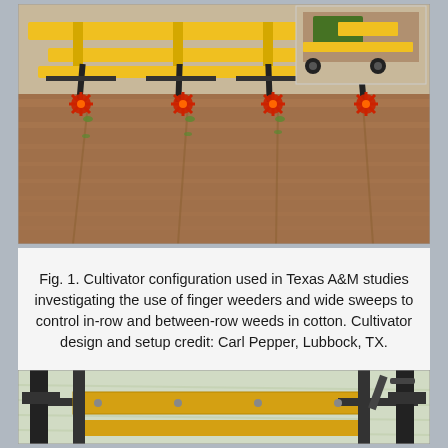[Figure (photo): Aerial/ground-level photograph of a yellow cultivator implement being pulled across a field, showing finger weeders (red star-shaped tools) working between crop rows in brown soil. A secondary inset image in the upper right corner shows a closer view of the tractor and implement.]
Fig. 1. Cultivator configuration used in Texas A&M studies investigating the use of finger weeders and wide sweeps to control in-row and between-row weeds in cotton. Cultivator design and setup credit: Carl Pepper, Lubbock, TX.
[Figure (photo): Close-up photograph of agricultural cultivator frame/toolbar equipment, showing yellow horizontal beams mounted on a black metal frame structure, partially visible at the bottom of the page.]